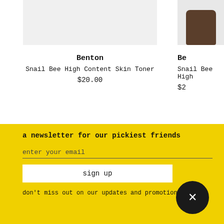[Figure (photo): Product image placeholder - light gray rectangle for Snail Bee High Content Skin Toner]
[Figure (photo): Product jar image - dark brown jar partially cropped on right side]
Benton
Snail Bee High Content Skin Toner
$20.00
Be
Snail Bee High
$2
a newsletter for our pickiest friends
enter your email
sign up
don't miss out on our updates and promotions!